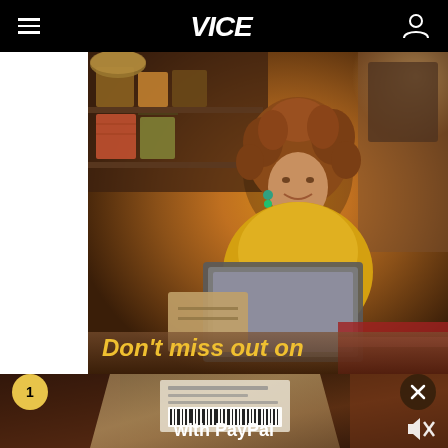VICE
[Figure (screenshot): Video advertisement showing a woman with curly hair in a yellow sweater working on a laptop in a cozy home setting with colorful storage boxes on shelves. Text overlay reads: Don't miss out on]
Don't miss out on
[Figure (screenshot): Second portion of video advertisement showing a close-up of a shipping box with a barcode label. Text overlay reads: with PayPal. A notification badge showing '1' appears at the top left and a close (X) button at the top right. A mute/unmute icon appears at the bottom right.]
with PayPal